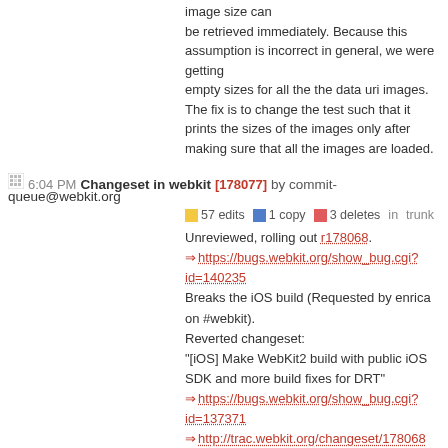image size can be retrieved immediately. Because this assumption is incorrect in general, we were getting empty sizes for all the the data uri images. The fix is to change the test such that it prints the sizes of the images only after making sure that all the images are loaded.
6:04 PM Changeset in webkit [178077] by commit-queue@webkit.org
57 edits  1 copy  3 deletes  in trunk
Unreviewed, rolling out r178068.
⇒ https://bugs.webkit.org/show_bug.cgi?id=140235
Breaks the iOS build (Requested by enrica on #webkit).
Reverted changeset:
"[iOS] Make WebKit2 build with public iOS SDK and more build fixes for DRT"
⇒ https://bugs.webkit.org/show_bug.cgi?id=137371
⇒ http://trac.webkit.org/changeset/178068
6:01 PM Changeset in webkit [178076] by Brent Fulgham
3 edits  19 adds  2 deletes  in trunk/LayoutTests
[Win] Rebaseline windows fast/text tests.
Most of these work properly, but have different DRT output because the font rendering
on Windows is different than Mac.